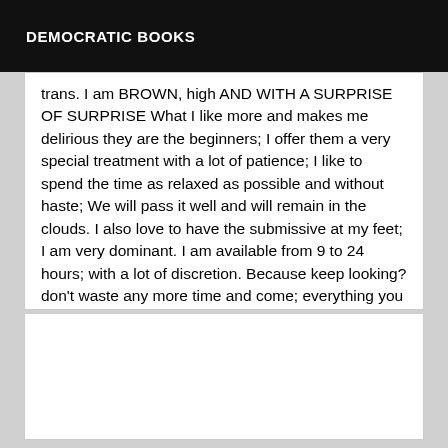DEMOCRATIC BOOKS
trans. I am BROWN, high AND WITH A SURPRISE OF SURPRISE What I like more and makes me delirious they are the beginners; I offer them a very special treatment with a lot of patience; I like to spend the time as relaxed as possible and without haste; We will pass it well and will remain in the clouds. I also love to have the submissive at my feet; I am very dominant. I am available from 9 to 24 hours; with a lot of discretion. Because keep looking? don't waste any more time and come; everything you are looking for here. PLEASE NO SMS NOR HIDDEN NUMBERS. KISS